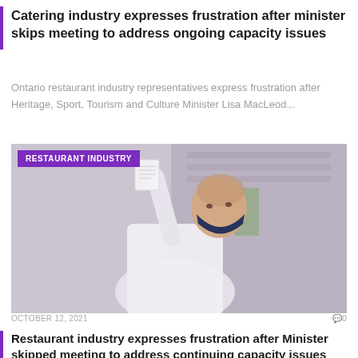Catering industry expresses frustration after minister skips meeting to address ongoing capacity issues
Ontario restaurant industry representatives express frustration after Heritage, Sport, Tourism and Culture Minister Lisa MacLeod...
[Figure (photo): A chef wearing a white uniform and dark navy face mask holds up a piece of paper in a commercial kitchen. A purple badge reading 'RESTAURANT INDUSTRY' appears in the top left corner.]
OCTOBER 12, 2021
Restaurant industry expresses frustration after Minister skipped meeting to address continuing capacity issues